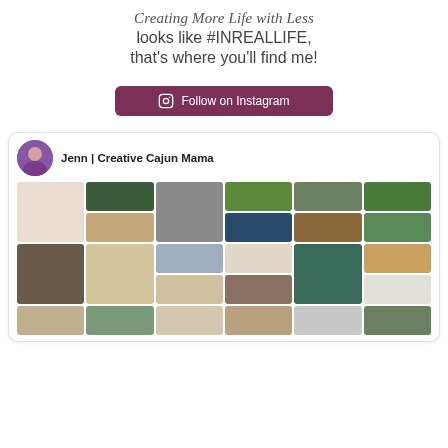Creating More Life with Less looks like #INREALLIFE, that's where you'll find me!
[Figure (other): Follow on Instagram button with Instagram icon, dark rose/burgundy background]
[Figure (other): Pinterest profile card for Jenn | Creative Cajun Mama with avatar and grid of home/lifestyle photos]